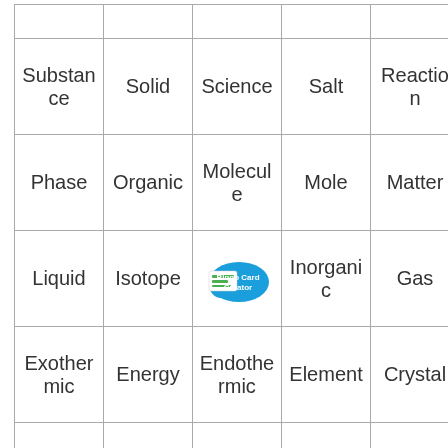|  |  |  |  |  |
| Substance | Solid | Science | Salt | Reaction |
| Phase | Organic | Molecule | Mole | Matter |
| Liquid | Isotope | [Bingo Card Creator logo] | Inorganic | Gas |
| Exothermic | Energy | Endothermic | Element | Crystal |
|  |  |  |  |  |